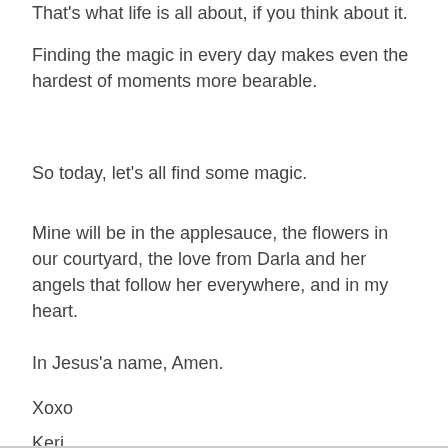That's what life is all about, if you think about it.
Finding the magic in every day makes even the hardest of moments more bearable.
So today, let's all find some magic.
Mine will be in the applesauce, the flowers in our courtyard, the love from Darla and her angels that follow her everywhere, and in my heart.
In Jesus'a name, Amen.
Xoxo
Keri